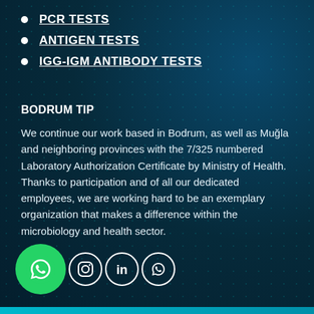PCR TESTS
ANTIGEN TESTS
IGG-IGM ANTIBODY TESTS
BODRUM TIP
We continue our work based in Bodrum, as well as Muğla and neighboring provinces with the 7/325 numbered Laboratory Authorization Certificate by Ministry of Health. Thanks to participation and of all our dedicated employees, we are working hard to be an exemplary organization that makes a difference within the microbiology and health sector.
[Figure (infographic): Social media icons: WhatsApp (large green circle), Instagram, LinkedIn, WhatsApp small circle]